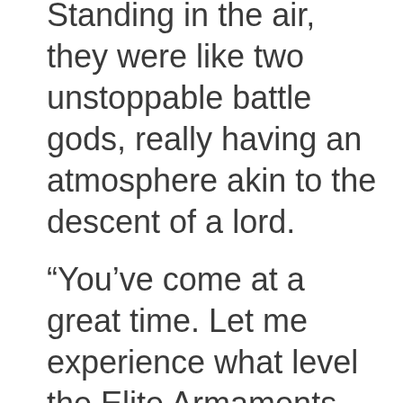Standing in the air, they were like two unstoppable battle gods, really having an atmosphere akin to the descent of a lord.
“You’ve come at a great time. Let me experience what level the Elite Armaments brandished by Martial Lords reach!”
If it were a normal person, if they were in that situation, fear would definitely bloom in their